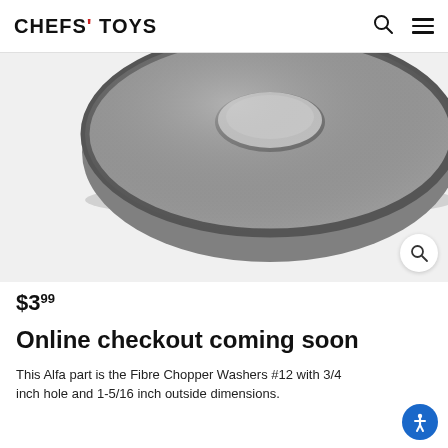CHEFS' TOYS
[Figure (photo): A gray circular Fibre Chopper Washer #12 with a center hole, viewed from above on a white background. A zoom/search icon button appears in the bottom right corner of the image area.]
$3.99
Online checkout coming soon
This Alfa part is the Fibre Chopper Washers #12 with 3/4 inch hole and 1-5/16 inch outside dimensions.